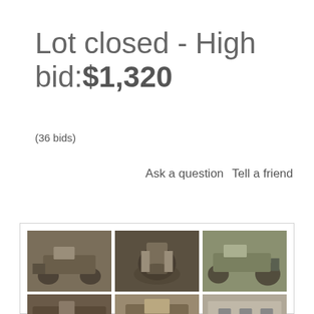Lot closed - High bid:$1,320
(36 bids)
Ask a question   Tell a friend
[Figure (photo): Grid of 6 photos showing a vintage/old tractor from multiple angles, on gravel/dirt ground with trees in background]